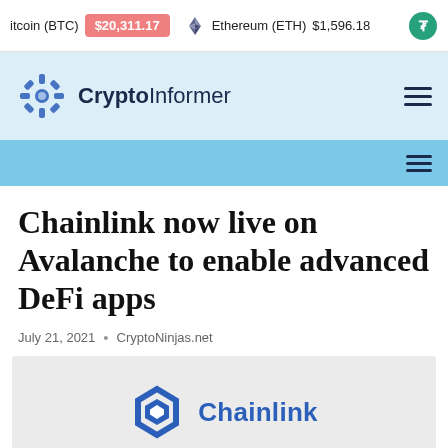itcoin (BTC) $20,311.17  Ethereum (ETH) $1,596.18
[Figure (logo): Crypto Informer logo with navigation bar and hamburger menu]
[Figure (other): Light blue sub-navigation bar with hamburger menu icon]
Chainlink now live on Avalanche to enable advanced DeFi apps
July 21, 2021  •  CryptoNinjas.net
[Figure (logo): Chainlink logo — blue hexagon icon with 'Chainlink' text in blue on grey background]